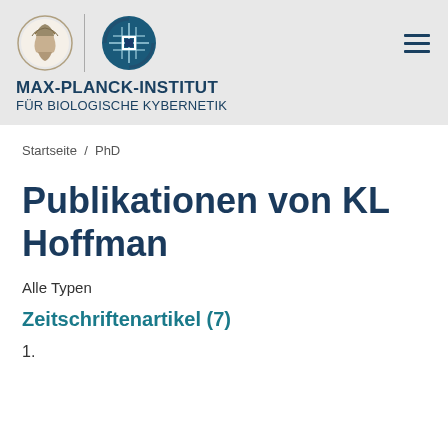[Figure (logo): Max-Planck-Institut für Biologische Kybernetik header with Minerva and MPI logos]
MAX-PLANCK-INSTITUT FÜR BIOLOGISCHE KYBERNETIK
Startseite / PhD
Publikationen von KL Hoffman
Alle Typen
Zeitschriftenartikel (7)
1.